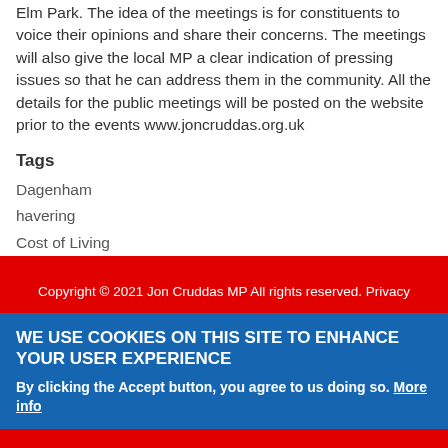Elm Park. The idea of the meetings is for constituents to voice their opinions and share their concerns. The meetings will also give the local MP a clear indication of pressing issues so that he can address them in the community. All the details for the public meetings will be posted on the website prior to the events www.joncruddas.org.uk
Tags
Dagenham
havering
Cost of Living
Campaign
Fare Rises
Copyright © 2021 Jon Cruddas MP All rights reserved. Privacy
WE USE COOKIES ON THIS SITE TO ENHANCE YOUR USER EXPERIENCE
By clicking the Accept button, you agree to us doing so. More info